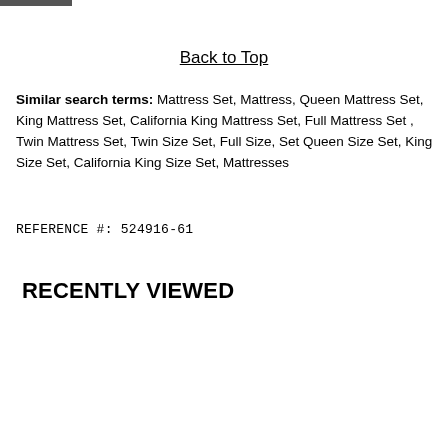Back to Top
Similar search terms: Mattress Set, Mattress, Queen Mattress Set, King Mattress Set, California King Mattress Set, Full Mattress Set , Twin Mattress Set, Twin Size Set, Full Size, Set Queen Size Set, King Size Set, California King Size Set, Mattresses
REFERENCE #: 524916-61
RECENTLY VIEWED